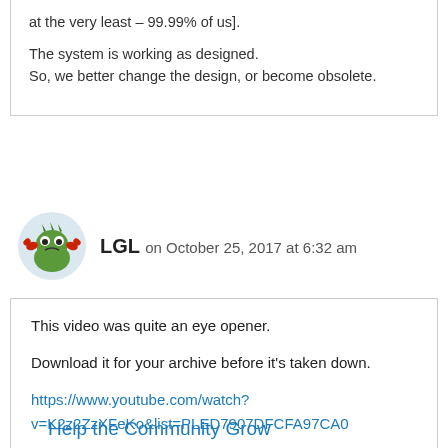at the very least – 99.99% of us].

The system is working as designed.
So, we better change the design, or become obsolete.
LGL on October 25, 2017 at 6:32 am
This video was quite an eye opener.

Download it for your archive before it's taken down.

https://www.youtube.com/watch?v=K2z2ZzXFeKo&list=PLED7907DFCFA97CA0
Help the Community Grow